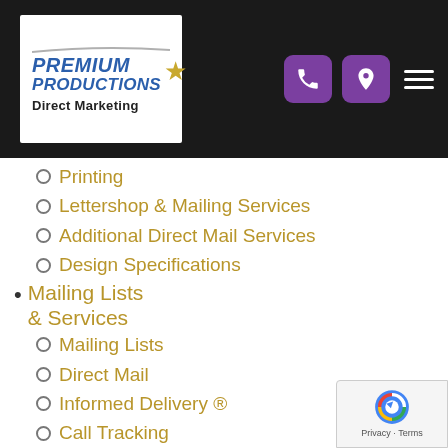[Figure (logo): Premium Productions Inc Direct Marketing logo — blue bold italic text with gold star and swoosh arc, on white background]
Printing
Lettershop & Mailing Services
Additional Direct Mail Services
Design Specifications
Mailing Lists & Services
Mailing Lists
Direct Mail
Informed Delivery ®
Call Tracking
Conquest Email Marketing
Promotional Print
Targeted Display Ads
About Us
Contact Us
Blog